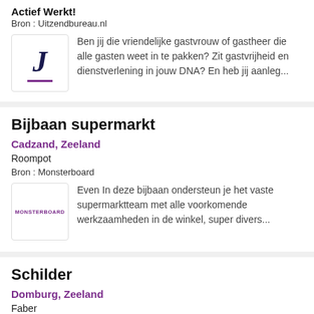Actief Werkt!
Bron : Uitzendbureau.nl
Ben jij die vriendelijke gastvrouw of gastheer die alle gasten weet in te pakken? Zit gastvrijheid en dienstverlening in jouw DNA? En heb jij aanleg...
Bijbaan supermarkt
Cadzand, Zeeland
Roompot
Bron : Monsterboard
Even In deze bijbaan ondersteun je het vaste supermarktteam met alle voorkomende werkzaamheden in de winkel, super divers...
Schilder
Domburg, Zeeland
Faber
Bron : Monsterboard